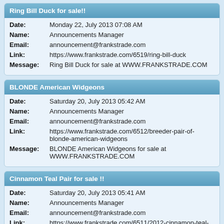Ring Bill Duck for sale!!
Date: Monday 22, July 2013 07:08 AM
Name: Announcements Manager
Email: announcement@frankstrade.com
Link: https://www.frankstrade.com/6519/ring-bill-duck
Message: Ring Bill Duck for sale at WWW.FRANKSTRADE.COM
BLONDE American Widgeons
Date: Saturday 20, July 2013 05:42 AM
Name: Announcements Manager
Email: announcement@frankstrade.com
Link: https://www.frankstrade.com/6512/breeder-pair-of-blonde-american-widgeons
Message: BLONDE American Widgeons for sale at WWW.FRANKSTRADE.COM
Cinnamon Teal Pair for sale !!
Date: Saturday 20, July 2013 05:41 AM
Name: Announcements Manager
Email: announcement@frankstrade.com
Link: https://www.frankstrade.com/6511/2012-cinnamon-teal-pair
Message: 2012 Cinnamon Teal Pair for sale at WWW.FRANKSTRADE.COM
Red Crested Pochard Hen